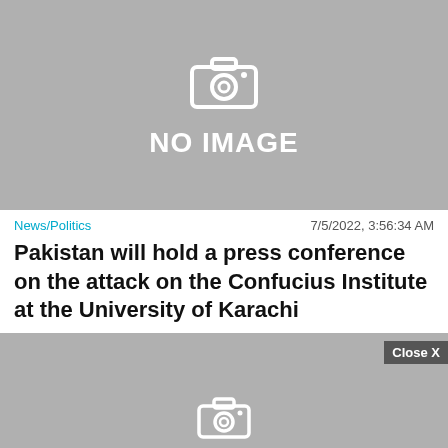[Figure (other): Gray placeholder image with camera icon and 'NO IMAGE' text]
News/Politics   7/5/2022, 3:56:34 AM
Pakistan will hold a press conference on the attack on the Confucius Institute at the University of Karachi
[Figure (other): Second gray placeholder image with camera icon, with a 'Close X' button overlay]
[Figure (other): BitLife advertisement banner with emojis on red background and black panel with 'REAL CHOICES' text]